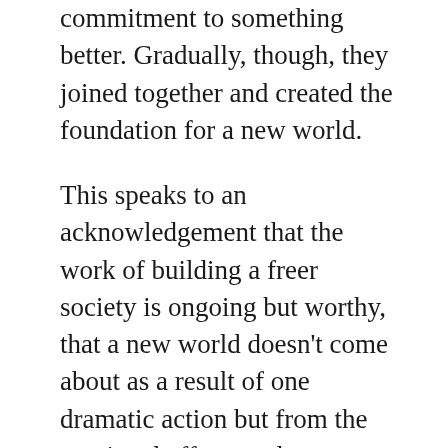commitment to something better. Gradually, though, they joined together and created the foundation for a new world.
This speaks to an acknowledgement that the work of building a freer society is ongoing but worthy, that a new world doesn't come about as a result of one dramatic action but from the continual efforts and persistence of entire communities. There's a belief here, underneath the layers of attempted satire, that people have the means to create the future they want and deserve if they band together. It's this underlying notion that distinguishes the game from something like Grand Theft Auto V, which also satirizes both capitalism and its detractors. Where GTAV feels dismissive, cynical and fatalist, The Outer Worlds at its best doesn't